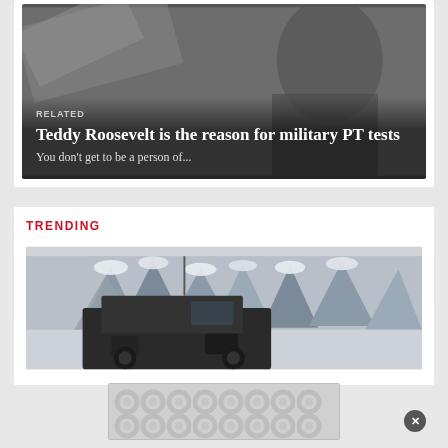[Figure (photo): Black and white photo with RELATED label overlay, title 'Teddy Roosevelt is the reason for military PT tests' and subtitle 'You don’t get to be a person of...' on a dark gradient overlay]
TRENDING
[Figure (photo): Winter snow scene with snow-covered trees and a dark military-style vehicle in the foreground]
[Figure (other): Advertisement banner with repeating circular logo pattern, gray background]